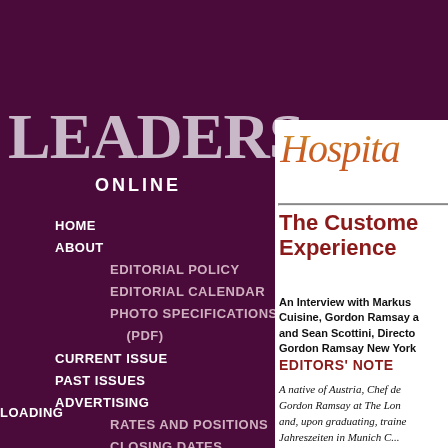LEADERS
ONLINE
HOME
ABOUT
EDITORIAL POLICY
EDITORIAL CALENDAR
PHOTO SPECIFICATIONS (PDF)
CURRENT ISSUE
PAST ISSUES
ADVERTISING
RATES AND POSITIONS
CLOSING DATES
DIGITAL ADS
TERMS
CONTACT US
REPRINTS (PDF)
BPA(PDF)
LOADING
[Figure (logo): Hospitality script logo in orange-gold gradient]
The Customer Experience
An Interview with Markus Cuisine, Gordon Ramsay and Sean Scottini, Director Gordon Ramsay New York
EDITORS' NOTE
A native of Austria, Chef de Gordon Ramsay at The London and, upon graduating, trained Jahreszeiten in Munich C...